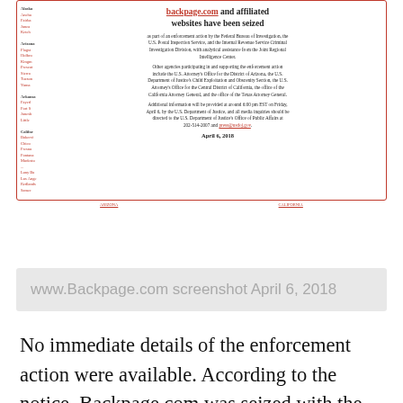[Figure (screenshot): Screenshot of www.Backpage.com showing a seizure notice. Title reads: 'backpage.com and affiliated websites have been seized'. Body text describes FBI, U.S. Postal Inspection Service, IRS Criminal Investigation Division involvement, with date April 6, 2018.]
www.Backpage.com screenshot April 6, 2018
No immediate details of the enforcement action were available. According to the notice, Backpage.com was seized with the support of the U.S. Attorney's Office for the District of Arizona, the U.S. DOJ's Child Exploitation and Obscenity Section, the U.S. Attorney's Office for the Central District of California, and the